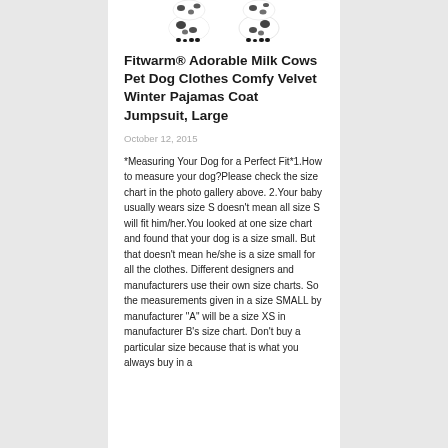[Figure (photo): Two dog pajama/jumpsuit items with black and white cow print pattern, shown from above cropped at top of page]
Fitwarm® Adorable Milk Cows Pet Dog Clothes Comfy Velvet Winter Pajamas Coat Jumpsuit, Large
October 12, 2015
*Measuring Your Dog for a Perfect Fit*1.How to measure your dog?Please check the size chart in the photo gallery above. 2.Your baby usually wears size S doesn't mean all size S will fit him/her.You looked at one size chart and found that your dog is a size small. But that doesn't mean he/she is a size small for all the clothes. Different designers and manufacturers use their own size charts. So the measurements given in a size SMALL by manufacturer "A" will be a size XS in manufacturer B's size chart. Don't buy a particular size because that is what you always buy in a